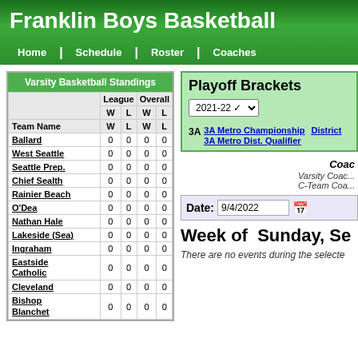Franklin Boys Basketball
Home | Schedule | Roster | Coaches
| Team Name | League W | League L | Overall W | Overall L |
| --- | --- | --- | --- | --- |
| Ballard | 0 | 0 | 0 | 0 |
| West Seattle | 0 | 0 | 0 | 0 |
| Seattle Prep. | 0 | 0 | 0 | 0 |
| Chief Sealth | 0 | 0 | 0 | 0 |
| Rainier Beach | 0 | 0 | 0 | 0 |
| O'Dea | 0 | 0 | 0 | 0 |
| Nathan Hale | 0 | 0 | 0 | 0 |
| Lakeside (Sea) | 0 | 0 | 0 | 0 |
| Ingraham | 0 | 0 | 0 | 0 |
| Eastside Catholic | 0 | 0 | 0 | 0 |
| Cleveland | 0 | 0 | 0 | 0 |
| Bishop Blanchet | 0 | 0 | 0 | 0 |
Playoff Brackets
2021-22
3A  3A Metro Championship  3A Metro Dist. Qualifier  District
Coaches
Varsity Coac...  C-Team Coa...
Date: 9/4/2022
Week of  Sunday, Se
There are no events during the selecte